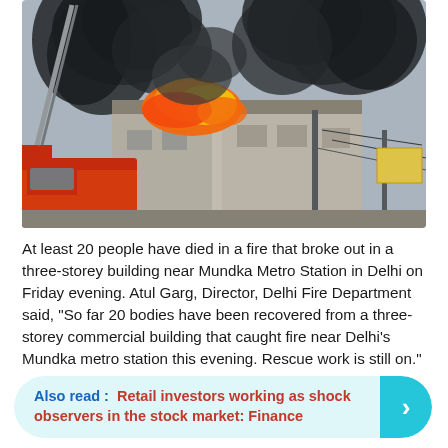[Figure (photo): A large fire burning in a three-storey commercial building near Mundka Metro Station in Delhi. Black smoke billows into the sky. A red fire truck is visible on the left side. The building structure is partially visible through the smoke and flames.]
At least 20 people have died in a fire that broke out in a three-storey building near Mundka Metro Station in Delhi on Friday evening. Atul Garg, Director, Delhi Fire Department said, "So far 20 bodies have been recovered from a three-storey commercial building that caught fire near Delhi’s Mundka metro station this evening. Rescue work is still on."
Also read : Retail investors working as shock observers in the stock market: Finance